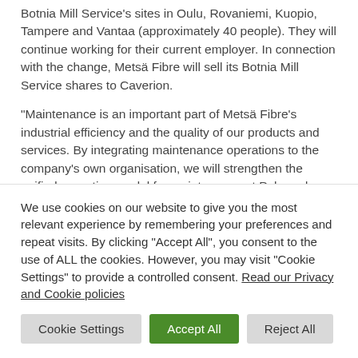Botnia Mill Service's sites in Oulu, Rovaniemi, Kuopio, Tampere and Vantaa (approximately 40 people). They will continue working for their current employer. In connection with the change, Metsä Fibre will sell its Botnia Mill Service shares to Caverion.
“Maintenance is an important part of Metsä Fibre’s industrial efficiency and the quality of our products and services. By integrating maintenance operations to the company’s own organisation, we will strengthen the unified operating model for maintenance at Pulp and
We use cookies on our website to give you the most relevant experience by remembering your preferences and repeat visits. By clicking “Accept All”, you consent to the use of ALL the cookies. However, you may visit “Cookie Settings” to provide a controlled consent. Read our Privacy and Cookie policies